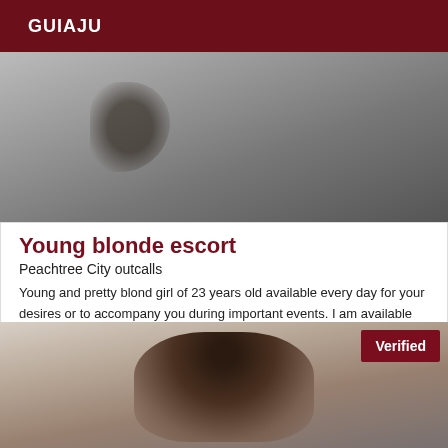GUIAJU
[Figure (photo): Grayscale photo showing a person with a tattoo visible on their arm/shoulder area, appears to be a black and white close-up shot]
Young blonde escort
Peachtree City outcalls
Young and pretty blond girl of 23 years old available every day for your desires or to accompany you during important events. I am available every day on Peachtree City. I am also looking for a Moneyslave. Fixed price per hour or half day to be discussed by message.
[Figure (photo): Color photo of a dark-haired woman with hair clips/pins in her hair, with a 'Verified' badge overlay in the top right corner]